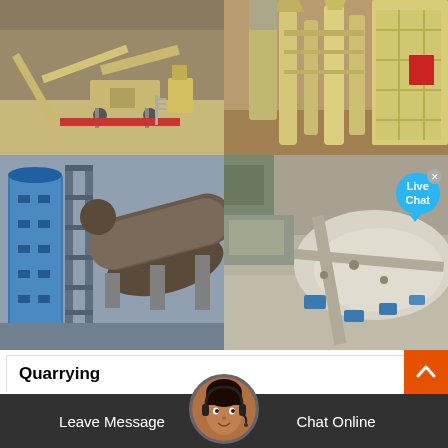[Figure (photo): Mining/quarrying mobile crusher equipment on a rocky site with conveyor belts, top-left photo]
[Figure (photo): Industrial milling/crushing machine equipment in a facility, top-right photo]
[Figure (photo): Large industrial rotary drum/kiln with blue silos and steel frame structure, bottom-left photo]
[Figure (photo): Aerial view of a quarry/mining processing plant facility, bottom-right photo with Live Chat bubble]
Quarrying
The Finlay LJ-130 hybrid jaw crusher is the large mobile jaw crusher in company"s range and has been developed for large-scale quarry and mining operations. The machine can operate as